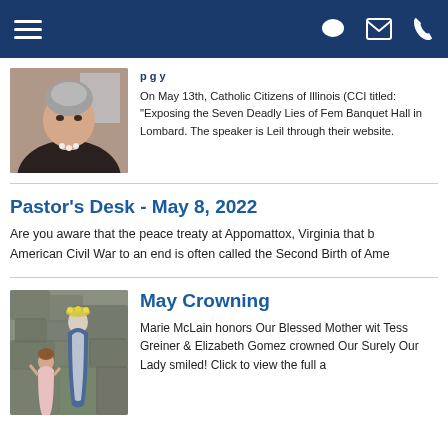Navigation bar with hamburger menu and icons
[Figure (photo): Portrait photo of a woman with grey-streaked updo hair wearing a dark top and pearl necklace]
On May 13th, Catholic Citizens of Illinois (CCI titled: "Exposing the Seven Deadly Lies of Fem Banquet Hall in Lombard. The speaker is Leil through their website.
Pastor's Desk - May 8, 2022
Are you aware that the peace treaty at Appomattox, Virginia that b American Civil War to an end is often called the Second Birth of Ame
May Crowning
[Figure (photo): Photo of a young girl standing next to a statue of the Virgin Mary adorned with a flower crown, set against a stone grotto background]
Marie McLain honors Our Blessed Mother wit Tess Greiner & Elizabeth Gomez crowned Our Surely Our Lady smiled! Click to view the full a